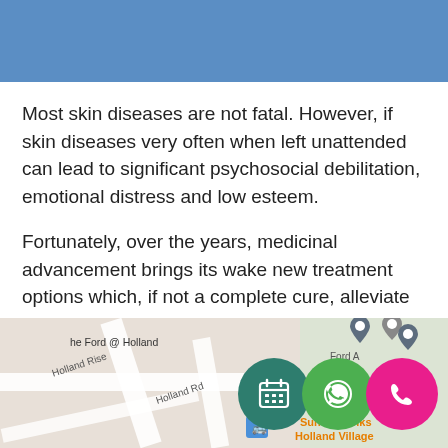[Figure (other): Blue header bar at the top of the page]
Most skin diseases are not fatal. However, if skin diseases very often when left unattended can lead to significant psychosocial debilitation, emotional distress and low esteem.
Fortunately, over the years, medicinal advancement brings its wake new treatment options which, if not a complete cure, alleviate symptoms tremendously. Speak to our doctors today!
[Figure (map): Google Maps screenshot showing Holland Village area with markers for 'The Ford @ Holland' and other nearby locations. Overlay includes three floating action buttons: a teal calendar icon, a green WhatsApp icon, and a pink phone icon.]